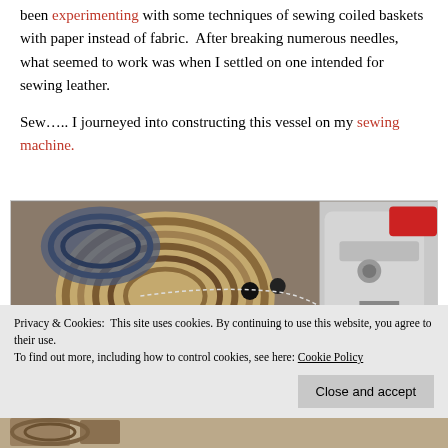been experimenting with some techniques of sewing coiled baskets with paper instead of fabric.  After breaking numerous needles, what seemed to work was when I settled on one intended for sewing leather.
Sew….. I journeyed into constructing this vessel on my sewing machine.
[Figure (photo): Close-up photograph of a coiled paper basket being sewn on a sewing machine, showing the coiled texture and the sewing machine foot pressing down on the material.]
Privacy & Cookies:  This site uses cookies. By continuing to use this website, you agree to their use.
To find out more, including how to control cookies, see here: Cookie Policy
[Figure (photo): Partial view of another coiled basket or paper craft at the bottom of the page.]